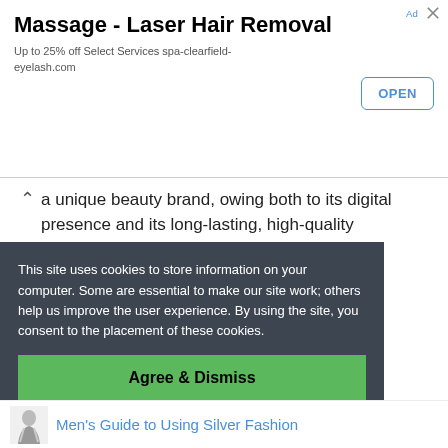[Figure (screenshot): Advertisement banner for Massage - Laser Hair Removal, showing title, subtitle 'Up to 25% off Select Services spa-clearfield-eyelash.com', and an OPEN button with ad icons]
a unique beauty brand, owing both to its digital presence and its long-lasting, high-quality products.
< Luxury Cosmetics Brand: Sisley Paris
> Luxury Cosmetics Brand: Ulta Beauty
This site uses cookies to store information on your computer. Some are essential to make our site work; others help us improve the user experience. By using the site, you consent to the placement of these cookies.
Agree & Dismiss
Men's Guide to Using Silver Fashion